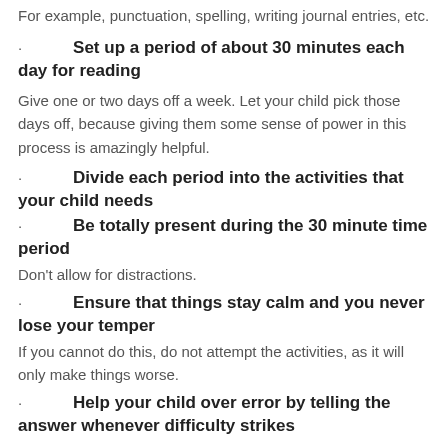For example, punctuation, spelling, writing journal entries, etc.
· Set up a period of about 30 minutes each day for reading
Give one or two days off a week. Let your child pick those days off, because giving them some sense of power in this process is amazingly helpful.
· Divide each period into the activities that your child needs
· Be totally present during the 30 minute time period
Don't allow for distractions.
· Ensure that things stay calm and you never lose your temper
If you cannot do this, do not attempt the activities, as it will only make things worse.
· Help your child over error by telling the answer whenever difficulty strikes